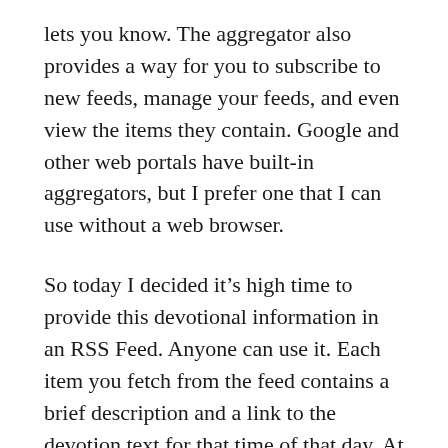lets you know. The aggregator also provides a way for you to subscribe to new feeds, manage your feeds, and even view the items they contain. Google and other web portals have built-in aggregators, but I prefer one that I can use without a web browser.
So today I decided it’s high time to provide this devotional information in an RSS Feed. Anyone can use it. Each item you fetch from the feed contains a brief description and a link to the devotion text for that time of that day. At 12 PM Pacific, the feed switches from morning devotions to evening devotions. (If you’re in another time zone, there’s not much I can do about it. I don’t think I have access to your tz